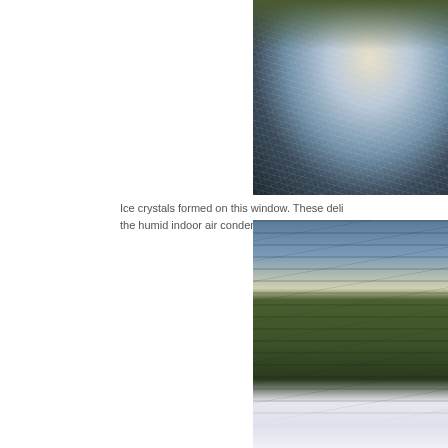[Figure (photo): Close-up photograph of ice crystals formed on a window pane, showing delicate white crystalline patterns against a dark background, partially cropped at right edge of page]
Ice crystals formed on this window. These deli the humid indoor air condenses o
[Figure (photo): Winter forest scene with tall pine/spruce trees covered lightly in snow, sunlight filtering through canopy, snow-covered ground, partially cropped at right edge of page]